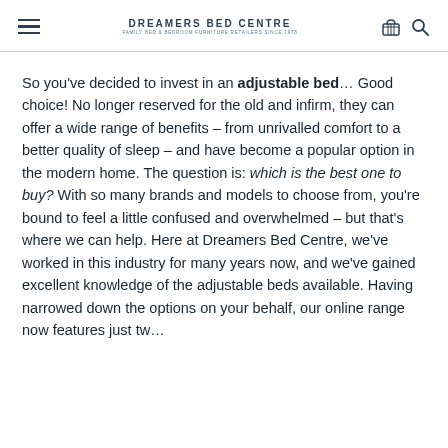DREAMERS BED CENTRE
So you’ve decided to invest in an adjustable bed… Good choice! No longer reserved for the old and infirm, they can offer a wide range of benefits – from unrivalled comfort to a better quality of sleep – and have become a popular option in the modern home. The question is: which is the best one to buy? With so many brands and models to choose from, you’re bound to feel a little confused and overwhelmed – but that’s where we can help. Here at Dreamers Bed Centre, we’ve worked in this industry for many years now, and we’ve gained excellent knowledge of the adjustable beds available. Having narrowed down the options on your behalf, our online range now features just tw…